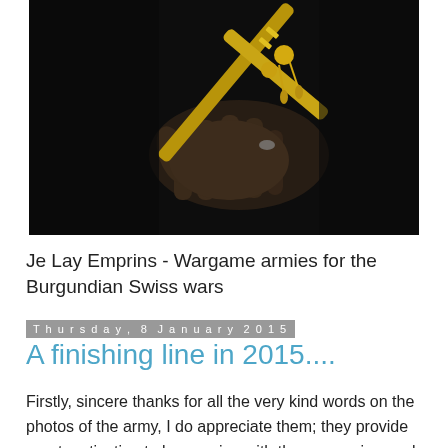[Figure (photo): Close-up dark photograph of a hand holding a golden cross or sceptre with ornate decorations against a black background]
Je Lay Emprins - Wargame armies for the Burgundian Swiss wars
Thursday, 8 January 2015
A finishing line in 2015....
Firstly, sincere thanks for all the very kind words on the photos of the army, I do appreciate them; they provide great motivation to keep going with the conversion work and detailing. Here are a few more photos left over that I didn't post before, to help get through that first week at work after